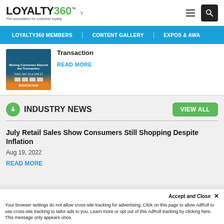LOYALTY360 — The association for customer loyalty
LOYALTY360 MEMBERS | CONTENT GALLERY | EXPOS & AWA
[Figure (screenshot): Promotional event image: Moving Customers Beyond the Transaction, TUES. MAY 26 at 1PM ET, Register Now button]
Transaction
READ MORE
INDUSTRY NEWS
VIEW ALL
July Retail Sales Show Consumers Still Shopping Despite Inflation
Aug 19, 2022
READ MORE
Accept and Close ✕
Your browser settings do not allow cross-site tracking for advertising. Click on this page to allow AdRoll to use cross-site tracking to tailor ads to you. Learn more or opt out of this AdRoll tracking by clicking here. This message only appears once.